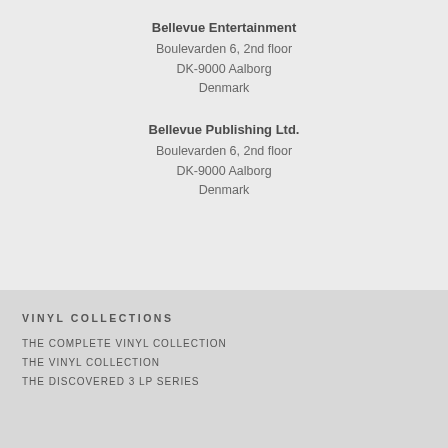Bellevue Entertainment
Boulevarden 6, 2nd floor
DK-9000 Aalborg
Denmark
Bellevue Publishing Ltd.
Boulevarden 6, 2nd floor
DK-9000 Aalborg
Denmark
VINYL COLLECTIONS
THE COMPLETE VINYL COLLECTION
THE VINYL COLLECTION
THE DISCOVERED 3 LP SERIES